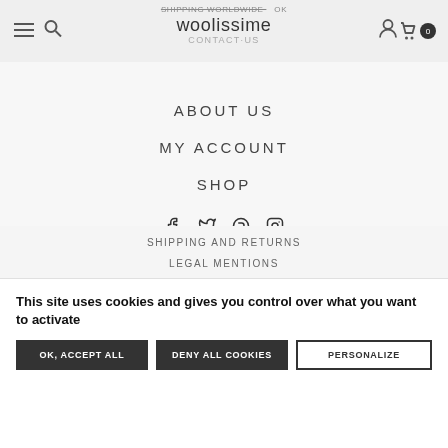SHIPPING WORLDWIDE · OK | woolissime | CONTACT US
ABOUT US
MY ACCOUNT
SHOP
[Figure (illustration): Social media icons: Facebook, Twitter, Ravelry, Instagram]
SHIPPING AND RETURNS
LEGAL MENTIONS
This site uses cookies and gives you control over what you want to activate
OK, ACCEPT ALL  |  DENY ALL COOKIES  |  PERSONALIZE